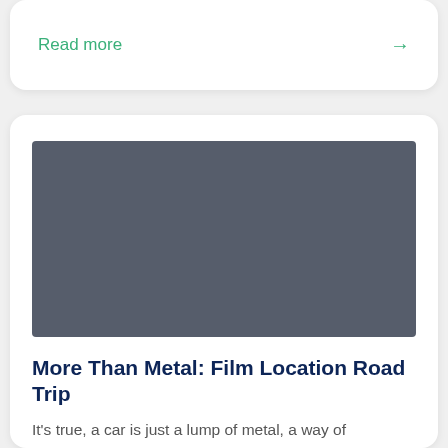Read more →
[Figure (photo): A placeholder image with dark gray/slate background representing an article thumbnail]
More Than Metal: Film Location Road Trip
It's true, a car is just a lump of metal, a way of